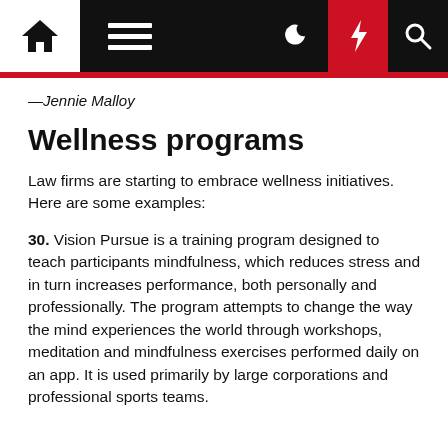Navigation bar with home, menu, moon, lightning, and search icons
—Jennie Malloy
Wellness programs
Law firms are starting to embrace wellness initiatives. Here are some examples:
30. Vision Pursue is a training program designed to teach participants mindfulness, which reduces stress and in turn increases performance, both personally and professionally. The program attempts to change the way the mind experiences the world through workshops, meditation and mindfulness exercises performed daily on an app. It is used primarily by large corporations and professional sports teams.